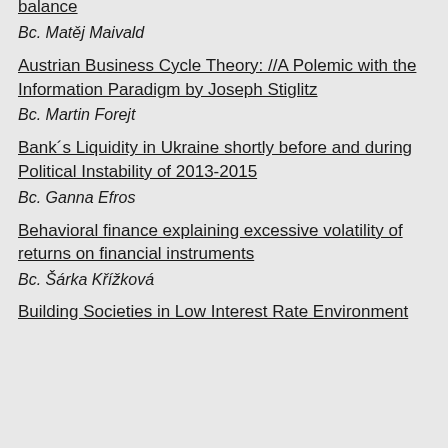parameters of the PAYG pension system on its balance
Bc. Matěj Maivald
Austrian Business Cycle Theory: //A Polemic with the Information Paradigm by Joseph Stiglitz
Bc. Martin Forejt
Bank´s Liquidity in Ukraine shortly before and during Political Instability of 2013-2015
Bc. Ganna Efros
Behavioral finance explaining excessive volatility of returns on financial instruments
Bc. Šárka Křížková
Building Societies in Low Interest Rate Environment